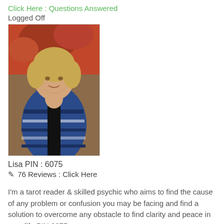Click Here : Questions Answered
Logged Off
[Figure (photo): Profile photo of Lisa, a woman with blonde hair wearing a blue and white striped cardigan over a black top, standing outdoors with a floral background.]
Lisa PIN : 6075
✎ 76 Reviews : Click Here
I'm a tarot reader & skilled psychic who aims to find the cause of any problem or confusion you may be facing and find a solution to overcome any obstacle to find clarity and peace in your life PIN 6075
Click Here : Questions Answered
Logged Off
[Figure (photo): Partial profile photo of another person with blonde hair, cropped at bottom of page.]